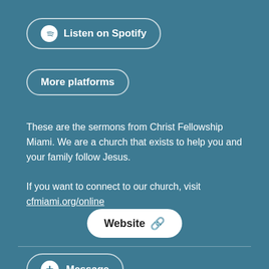[Figure (other): Button: Listen on Spotify (outline pill button with Spotify icon)]
[Figure (other): Button: More platforms (outline pill button)]
These are the sermons from Christ Fellowship Miami. We are a church that exists to help you and your family follow Jesus.

If you want to connect to our church, visit cfmiami.org/online
[Figure (other): Button: Website (white pill button with link icon)]
[Figure (other): Button: Message (outline pill button with plus circle icon)]